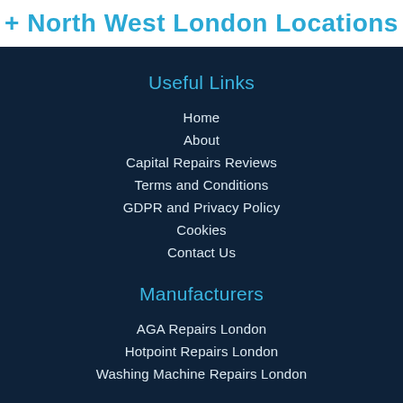+ North West London Locations
Useful Links
Home
About
Capital Repairs Reviews
Terms and Conditions
GDPR and Privacy Policy
Cookies
Contact Us
Manufacturers
AGA Repairs London
Hotpoint Repairs London
Washing Machine Repairs London